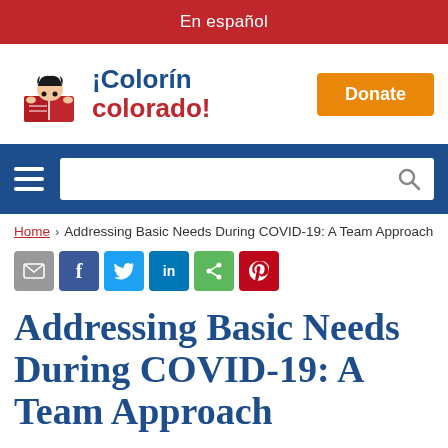En español
[Figure (logo): Colorín Colorado logo with child reading a book illustration. Text reads: ¡Colorín colorado!]
[Figure (other): Orange Donate button]
[Figure (other): Navigation bar with hamburger menu icon and search box]
Home › Addressing Basic Needs During COVID-19: A Team Approach
[Figure (other): Social share buttons: email, Facebook, Twitter, LinkedIn, share, Pinterest]
Addressing Basic Needs During COVID-19: A Team Approach